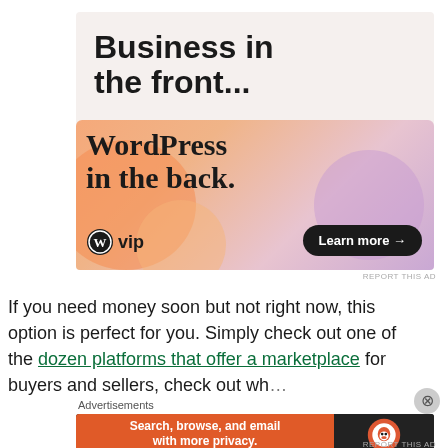Advertisements
[Figure (illustration): WordPress VIP advertisement. Top section on light background reads 'Business in the front...' in large bold sans-serif. Bottom section has colorful gradient (orange/pink/purple blobs) with text 'WordPress in the back.' and WordPress VIP logo on left, 'Learn more →' button on right.]
REPORT THIS AD
If you need money soon but not right now, this option is perfect for you. Simply check out one of the dozen platforms that offer a marketplace for buyers and sellers, check out wh…
Advertisements
[Figure (illustration): DuckDuckGo advertisement. Left side orange with text 'Search, browse, and email with more privacy. All in One Free App'. Right side dark with DuckDuckGo logo and name.]
REPORT THIS AD